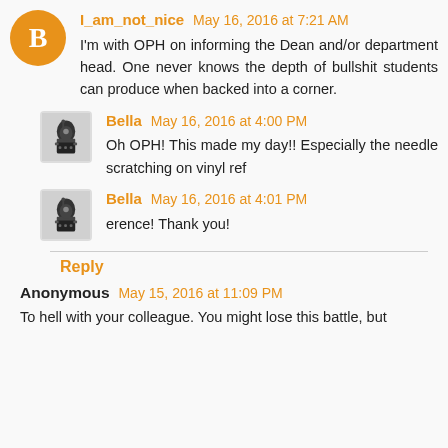I_am_not_nice May 16, 2016 at 7:21 AM
I'm with OPH on informing the Dean and/or department head. One never knows the depth of bullshit students can produce when backed into a corner.
Bella May 16, 2016 at 4:00 PM
Oh OPH! This made my day!! Especially the needle scratching on vinyl ref
Bella May 16, 2016 at 4:01 PM
erence! Thank you!
Reply
Anonymous May 15, 2016 at 11:09 PM
To hell with your colleague. You might lose this battle, but